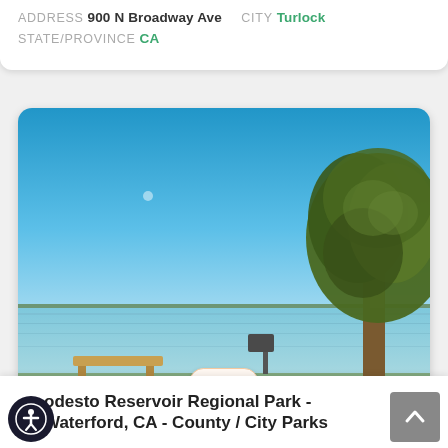ADDRESS 900 N Broadway Ave   CITY Turlock   STATE/PROVINCE CA
[Figure (photo): Outdoor scene showing a large calm lake or reservoir under a bright clear blue sky. A large tree occupies the upper right portion. A wooden dock/bench is visible in the lower left foreground. The opposite shore is visible in the distance. A faint moon is visible in the upper sky.]
Hot
Modesto Reservoir Regional Park - Waterford, CA - County / City Parks